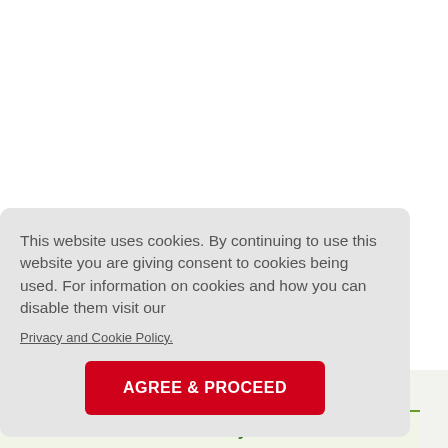This website uses cookies. By continuing to use this website you are giving consent to cookies being used. For information on cookies and how you can disable them visit our
Privacy and Cookie Policy.
AGREE & PROCEED
This article has been cited by